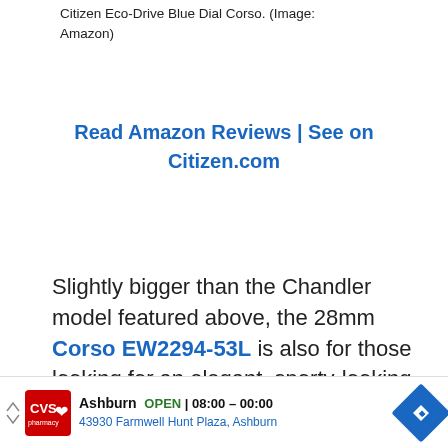Citizen Eco-Drive Blue Dial Corso. (Image: Amazon)
Read Amazon Reviews | See on Citizen.com
Slightly bigger than the Chandler model featured above, the 28mm Corso EW2294-53L is also for those looking for an elegant, sporty-looking watch.
[Figure (other): CVS Pharmacy advertisement banner showing store location in Ashburn, open hours 08:00-00:00, address 43930 Farmwell Hunt Plaza, Ashburn, with navigation arrow icon]